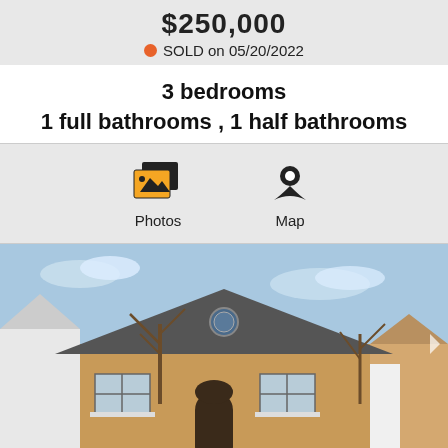$250,000
SOLD on 05/20/2022
3 bedrooms
1 full bathrooms , 1 half bathrooms
[Figure (infographic): Photos and Map icons for property listing navigation]
[Figure (photo): Exterior photo of a brick ranch-style house with blue sky background, bare trees, and neighboring houses visible]